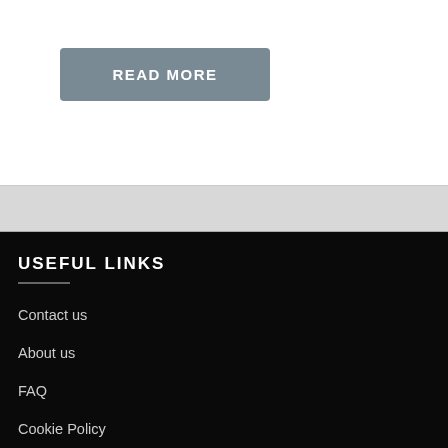READ MORE
USEFUL LINKS
Contact us
About us
FAQ
Cookie Policy
Privacy Policy